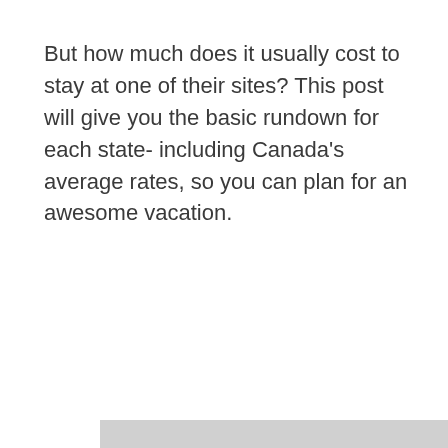But how much does it usually cost to stay at one of their sites? This post will give you the basic rundown for each state- including Canada's average rates, so you can plan for an awesome vacation.